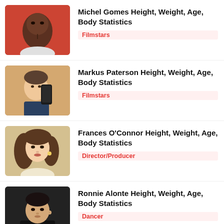[Figure (photo): Portrait photo of Michel Gomes, young Black male against red background]
Michel Gomes Height, Weight, Age, Body Statistics
Filmstars
[Figure (photo): Selfie photo of Markus Paterson, young male holding phone]
Markus Paterson Height, Weight, Age, Body Statistics
Filmstars
[Figure (photo): Portrait photo of Frances O'Connor, woman with curly brown hair]
Frances O'Connor Height, Weight, Age, Body Statistics
Director/Producer
[Figure (photo): Portrait photo of Ronnie Alonte, young Asian male in black outfit]
Ronnie Alonte Height, Weight, Age, Body Statistics
Dancer